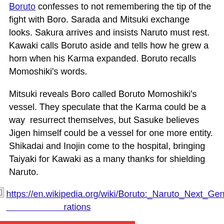Boruto confesses to not remembering the tip of the fight with Boro. Sarada and Mitsuki exchange looks. Sakura arrives and insists Naruto must rest. Kawaki calls Boruto aside and tells how he grew a horn when his Karma expanded. Boruto recalls Momoshiki's words.
Mitsuki reveals Boro called Boruto Momoshiki's vessel. They speculate that the Karma could be a way  resurrect themselves, but Sasuke believes Jigen himself could be a vessel for one more entity. Shikadai and Inojin come to the hospital, bringing Taiyaki for Kawaki as a many thanks for shielding Naruto.
[Figure (other): Broken image icon followed by a Wikipedia link: https://en.wikipedia.org/wiki/Boruto:_Naruto_Next_Generations]